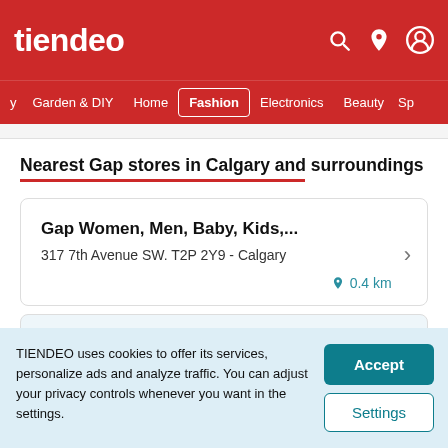tiendeo
y  Garden & DIY  Home  Fashion  Electronics  Beauty  Sp
Nearest Gap stores in Calgary and surroundings
Gap Women, Men, Baby, Kids,...
317 7th Avenue SW. T2P 2Y9 - Calgary
0.4 km
TIENDEO uses cookies to offer its services, personalize ads and analyze traffic. You can adjust your privacy controls whenever you want in the settings.